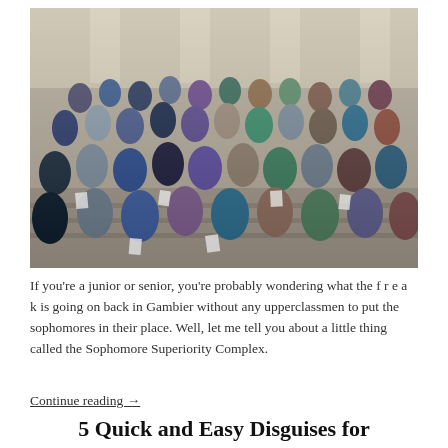[Figure (photo): Large group photo of students gathered on steps of a building with columns, many holding papers, smiling and posing together.]
If you're a junior or senior, you're probably wondering what the f r e a k is going on back in Gambier without any upperclassmen to put the sophomores in their place. Well, let me tell you about a little thing called the Sophomore Superiority Complex.
Continue reading →
5 Quick and Easy Disguises for